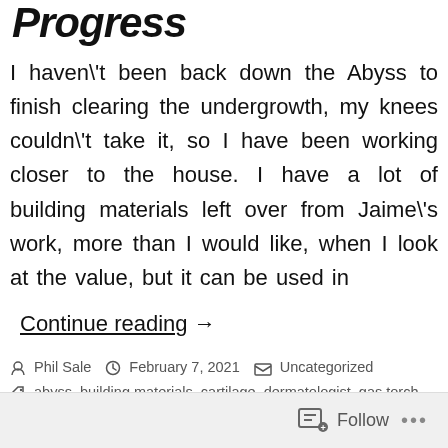Progress
I haven\'t been back down the Abyss to finish clearing the undergrowth, my knees couldn\'t take it, so I have been working closer to the house. I have a lot of building materials left over from Jaime\'s work, more than I would like, when I look at the value, but it can be used in
Continue reading →
Phil Sale  February 7, 2021  Uncategorized
abyss, building materials, cartilage, dermatologist, gas torch, medical appointments, orthopaedic surgeon, skin cancer, store
Leave a comment
Follow ...